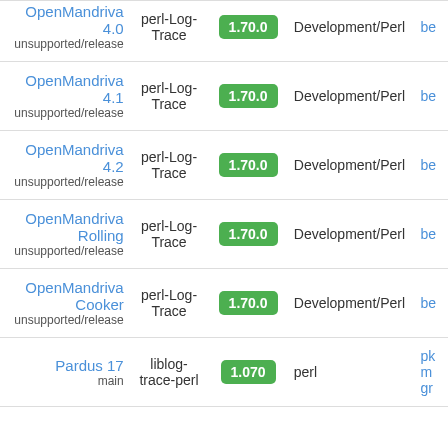| Distribution | Package | Version | Category |  |
| --- | --- | --- | --- | --- |
| OpenMandriva 4.0
unsupported/release | perl-Log-Trace | 1.70.0 | Development/Perl | be... |
| OpenMandriva 4.1
unsupported/release | perl-Log-Trace | 1.70.0 | Development/Perl | be... |
| OpenMandriva 4.2
unsupported/release | perl-Log-Trace | 1.70.0 | Development/Perl | be... |
| OpenMandriva Rolling
unsupported/release | perl-Log-Trace | 1.70.0 | Development/Perl | be... |
| OpenMandriva Cooker
unsupported/release | perl-Log-Trace | 1.70.0 | Development/Perl | be... |
| Pardus 17
main | liblog-trace-perl | 1.070 | perl | pk...
m...
gr... |